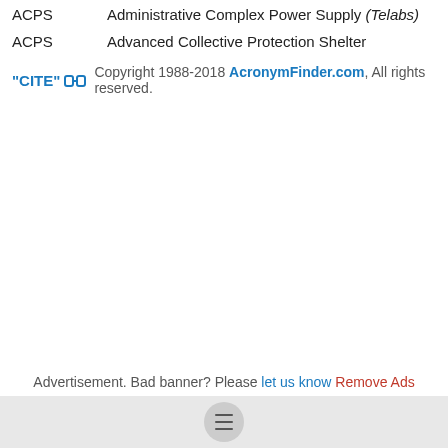ACPS   Administrative Complex Power Supply (Telabs)
ACPS   Advanced Collective Protection Shelter
"CITE" [link icon] Copyright 1988-2018 AcronymFinder.com, All rights reserved.
Advertisement. Bad banner? Please let us know Remove Ads
[hamburger menu button]